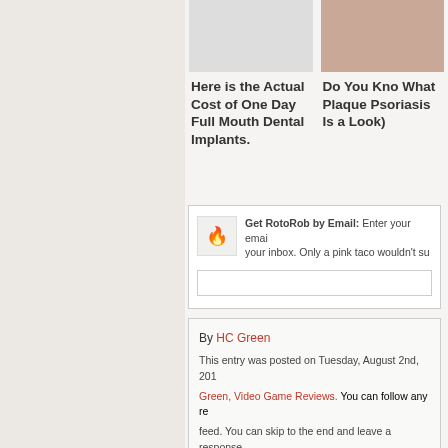[Figure (photo): Thumbnail image placeholder for dental implants ad]
Here is the Actual Cost of One Day Full Mouth Dental Implants.
[Figure (photo): Thumbnail image placeholder for psoriasis ad (skin closeup)]
Do You Kno What Plaque Psoriasis Is a Look)
Get RotoRob by Email: Enter your email your inbox. Only a pink taco wouldn't sub
By HC Green

This entry was posted on Tuesday, August 2nd, 201...

Green, Video Game Reviews. You can follow any re

feed. You can skip to the end and leave a response.